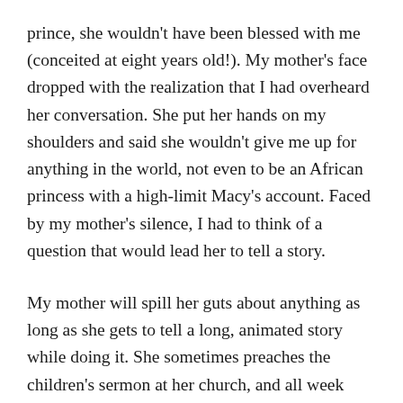prince, she wouldn't have been blessed with me (conceited at eight years old!). My mother's face dropped with the realization that I had overheard her conversation. She put her hands on my shoulders and said she wouldn't give me up for anything in the world, not even to be an African princess with a high-limit Macy's account. Faced by my mother's silence, I had to think of a question that would lead her to tell a story.
My mother will spill her guts about anything as long as she gets to tell a long, animated story while doing it. She sometimes preaches the children's sermon at her church, and all week leading up to Sunday, she practices her storytelling choreography in front of a mirror. Her arms flail at her sides as she pretends she's outrunning and ducking imaginary sins.